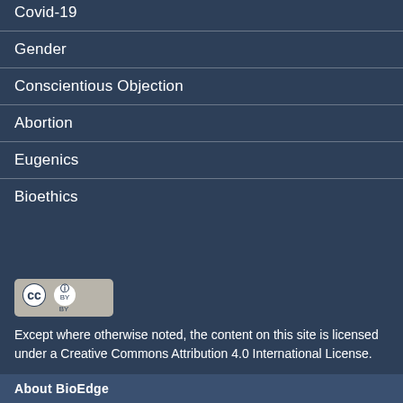Covid-19
Gender
Conscientious Objection
Abortion
Eugenics
Bioethics
[Figure (logo): Creative Commons CC BY license badge]
Except where otherwise noted, the content on this site is licensed under a Creative Commons Attribution 4.0 International License.
About BioEdge